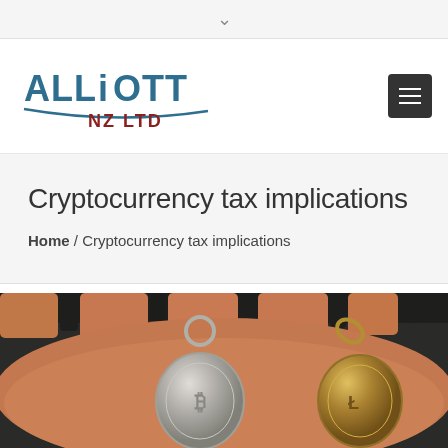[Figure (logo): Alliott NZ Ltd logo — stylized text 'ALLIOTT' in dark teal/blue with 'NZ LTD' in dark red below, with a curved underline swoosh]
Cryptocurrency tax implications
Home / Cryptocurrency tax implications
[Figure (photo): Close-up photo of a hand holding two cryptocurrency coin keychains — one silver/clear and one gold-toned — against a dark background]